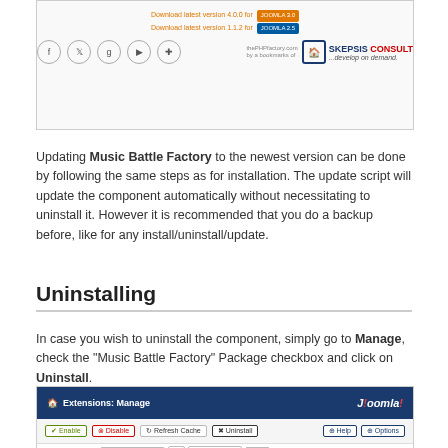[Figure (screenshot): Screenshot showing download links for Music Battle Factory and social media icons (Facebook, Twitter, Google+, YouTube, Pinterest) alongside a Skepsis Consult logo/branding.]
Updating Music Battle Factory to the newest version can be done by following the same steps as for installation. The update script will update the component automatically without necessitating to uninstall it. However it is recommended that you do a backup before, like for any install/uninstall/update.
Uninstalling
In case you wish to uninstall the component, simply go to Manage, check the "Music Battle Factory" Package checkbox and click on Uninstall.
[Figure (screenshot): Screenshot of Joomla Extensions: Manage interface showing toolbar with Enable, Disable, Refresh Cache, Uninstall buttons, search field with 'music' query, and table columns: Status, Name+, Location, Type, Version, Folder, ID.]